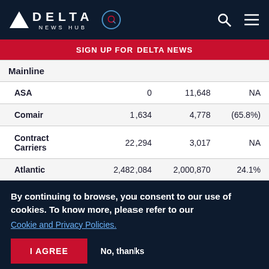DELTA NEWS HUB
SIGN UP FOR DELTA NEWS
|  |  |  |  |
| --- | --- | --- | --- |
| Mainline |  |  |  |
| ASA | 0 | 11,648 | NA |
| Comair | 1,634 | 4,778 | (65.8%) |
| Contract Carriers | 22,294 | 3,017 | NA |
| Atlantic | 2,482,084 | 2,000,870 | 24.1% |
By continuing to browse, you consent to our use of cookies. To know more, please refer to our Cookie and Privacy Policies.
I AGREE
No, thanks